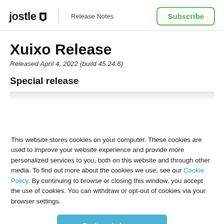jostle  Release Notes  Subscribe
Xuixo Release
Released April 4, 2022 (build 45.24.6)
Special release
This website stores cookies on your computer. These cookies are used to improve your website experience and provide more personalized services to you, both on this website and through other media. To find out more about the cookies we use, see our Cookie Policy. By continuing to browse or closing this window, you accept the use of cookies. You can withdraw or opt-out of cookies via your browser settings.
Continue to browse